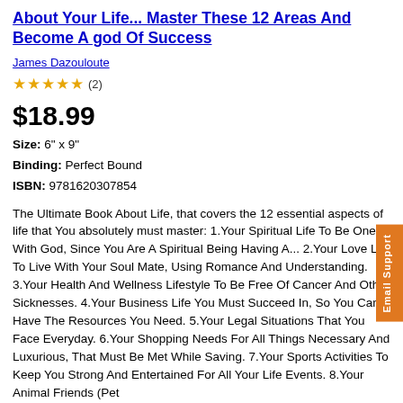About Your Life... Master These 12 Areas And Become A god Of Success
James Dazouloute
★★★★★ (2)
$18.99
Size: 6" x 9"
Binding: Perfect Bound
ISBN: 9781620307854
The Ultimate Book About Life, that covers the 12 essential aspects of life that You absolutely must master: 1.Your Spiritual Life To Be One With God, Since You Are A Spiritual Being Having A... 2.Your Love Life To Live With Your Soul Mate, Using Romance And Understanding. 3.Your Health And Wellness Lifestyle To Be Free Of Cancer And Other Sicknesses. 4.Your Business Life You Must Succeed In, So You Can Have The Resources You Need. 5.Your Legal Situations That You Face Everyday. 6.Your Shopping Needs For All Things Necessary And Luxurious, That Must Be Met While Saving. 7.Your Sports Activities To Keep You Strong And Entertained For All Your Life Events. 8.Your Animal Friends (Pet